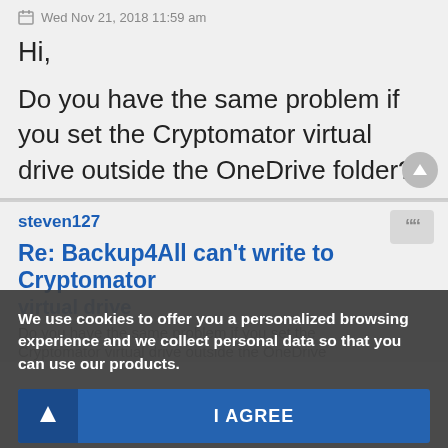Wed Nov 21, 2018 11:59 am
Hi,
Do you have the same problem if you set the Cryptomator virtual drive outside the OneDrive folder?
steven127
Re: Backup4All can't write to Cryptomator virtual drive
We use cookies to offer you a personalized browsing experience and we collect personal data so that you can use our products.
I AGREE
READ MORE